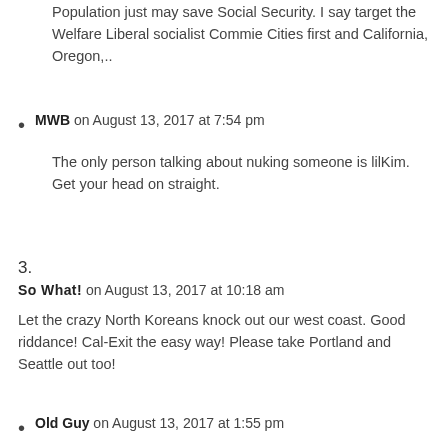Population just may save Social Security. I say target the Welfare Liberal socialist Commie Cities first and California, Oregon,..
MWB on August 13, 2017 at 7:54 pm
The only person talking about nuking someone is lilKim. Get your head on straight.
3.
So What! on August 13, 2017 at 10:18 am
Let the crazy North Koreans knock out our west coast. Good riddance! Cal-Exit the easy way! Please take Portland and Seattle out too!
Old Guy on August 13, 2017 at 1:55 pm